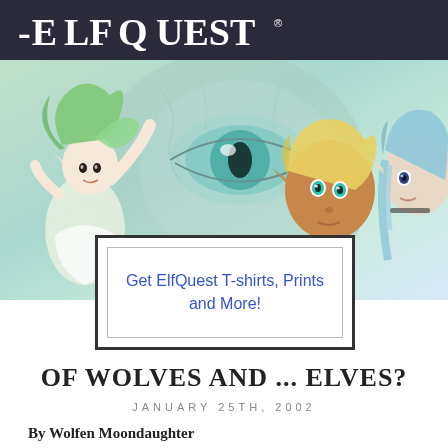[Figure (illustration): ElfQuest logo on dark banner header with stylized serif/display font text reading 'ElfQuest']
[Figure (illustration): Comic book style illustration band showing three elf characters: a green-haired elf on the left with arms raised, a large wolf eye in the center background, a blonde dark-skinned elf in the middle-right, and a blue-haired elf on the far right]
Get ElfQuest T-shirts, Prints and More!
OF WOLVES AND ... ELVES?
JANUARY 25TH, 2002
By Wolfen Moondaughter